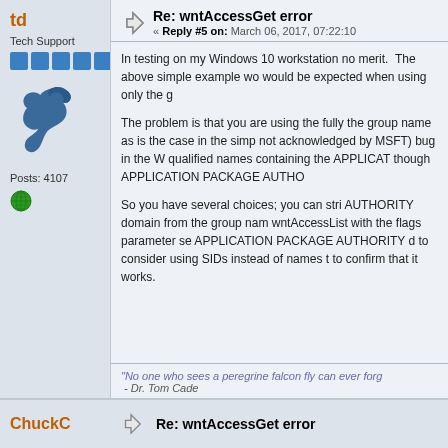td
Tech Support
[Figure (illustration): Five blue rank bars and a blue bird avatar icon]
Posts: 4107
[Figure (illustration): Small globe/world icon]
Re: wntAccessGet error
« Reply #5 on: March 06, 2017, 07:22:10
In testing on my Windows 10 workstation no merit. The above simple example wo would be expected when using only the g
The problem is that you are using the fully the group name as is the case in the simp not acknowledged by MSFT) bug in the W qualified names containing the APPLICAT though APPLICATION PACKAGE AUTHO
So you have several choices; you can stri AUTHORITY domain from the group nam wntAccessList with the flags parameter se APPLICATION PACKAGE AUTHORITY d to consider using SIDs instead of names t to confirm that it works.
"No one who sees a peregrine falcon fly can ever forg - Dr. Tom Cade
Re: wntAccessGet error
ChuckC